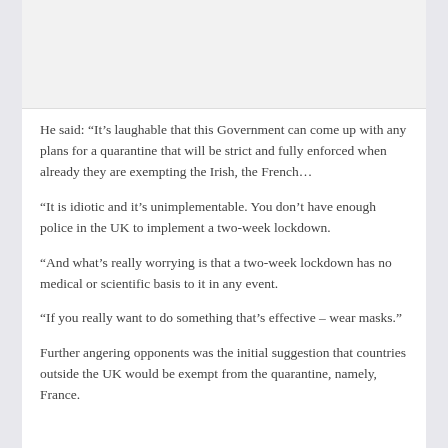[Figure (photo): Image placeholder at top of article]
He said: “It’s laughable that this Government can come up with any plans for a quarantine that will be strict and fully enforced when already they are exempting the Irish, the French…
“It is idiotic and it’s unimplementable. You don’t have enough police in the UK to implement a two-week lockdown.
“And what’s really worrying is that a two-week lockdown has no medical or scientific basis to it in any event.
“If you really want to do something that’s effective – wear masks.”
Further angering opponents was the initial suggestion that countries outside the UK would be exempt from the quarantine, namely, France.